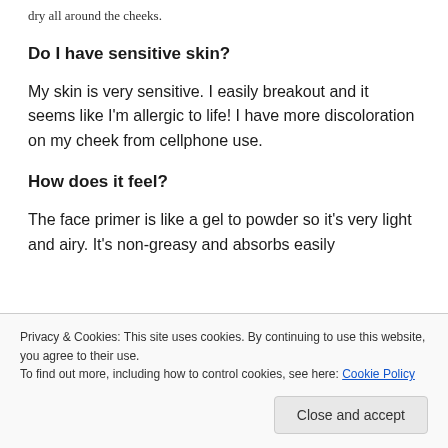dry all around the cheeks.
Do I have sensitive skin?
My skin is very sensitive. I easily breakout and it seems like I'm allergic to life! I have more discoloration on my cheek from cellphone use.
How does it feel?
The face primer is like a gel to powder so it's very light and airy. It's non-greasy and absorbs easily
Privacy & Cookies: This site uses cookies. By continuing to use this website, you agree to their use.
To find out more, including how to control cookies, see here: Cookie Policy
Close and accept